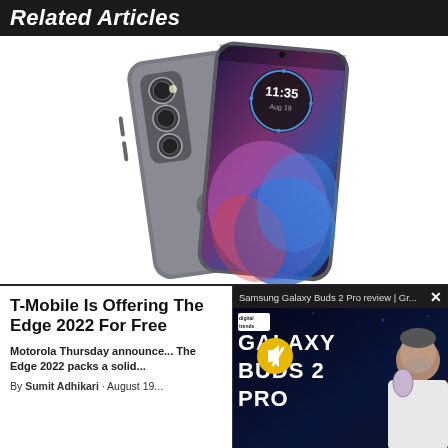Related Articles
[Figure (photo): Two Motorola Edge 2022 smartphones shown from the back and front. The back view shows a triple-camera system and Motorola logo. The front view shows the colorful abstract wallpaper and a circular watch-face style widget with time 11:35.]
T-Mobile Is Offering The Edge 2022 For Free
Motorola Thursday announced... The Edge 2022 packs a solid...
By Sumit Adhikari · August 19...
[Figure (screenshot): Video popup overlay showing Samsung Galaxy Buds 2 Pro review from Digital Trends. Overlay bar reads: Samsung Galaxy Buds 2 Pro review | Gr... with a close (X) button. The thumbnail shows large white text GALAXY BUDS 2 PRO on a dark background with a man holding a lavender Galaxy Buds 2 Pro case. A yellow mute icon circle is overlaid. Digital Trends logo appears in top left of the thumbnail.]